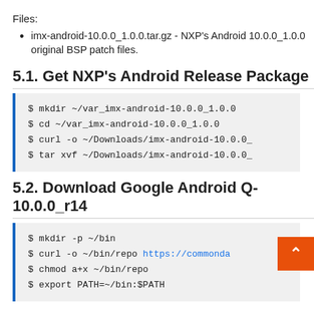Files:
imx-android-10.0.0_1.0.0.tar.gz - NXP's Android 10.0.0_1.0.0 original BSP patch files.
5.1. Get NXP's Android Release Package
$ mkdir ~/var_imx-android-10.0.0_1.0.0
$ cd ~/var_imx-android-10.0.0_1.0.0
$ curl -o ~/Downloads/imx-android-10.0.0_
$ tar xvf ~/Downloads/imx-android-10.0.0_
5.2. Download Google Android Q-10.0.0_r14
$ mkdir -p ~/bin
$ curl -o ~/bin/repo https://commonda...
$ chmod a+x ~/bin/repo
$ export PATH=~/bin:$PATH